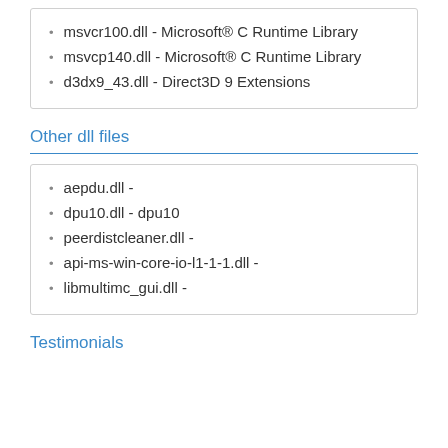msvcr100.dll - Microsoft® C Runtime Library
msvcp140.dll - Microsoft® C Runtime Library
d3dx9_43.dll - Direct3D 9 Extensions
Other dll files
aepdu.dll -
dpu10.dll - dpu10
peerdistcleaner.dll -
api-ms-win-core-io-l1-1-1.dll -
libmultimc_gui.dll -
Testimonials